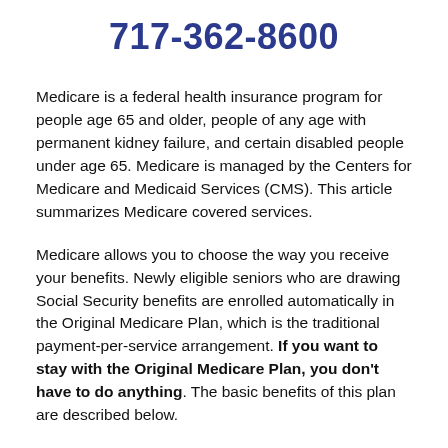717-362-8600
Medicare is a federal health insurance program for people age 65 and older, people of any age with permanent kidney failure, and certain disabled people under age 65. Medicare is managed by the Centers for Medicare and Medicaid Services (CMS). This article summarizes Medicare covered services.
Medicare allows you to choose the way you receive your benefits. Newly eligible seniors who are drawing Social Security benefits are enrolled automatically in the Original Medicare Plan, which is the traditional payment-per-service arrangement. If you want to stay with the Original Medicare Plan, you don't have to do anything. The basic benefits of this plan are described below.
Your copy of Medicare & You will explain the Original